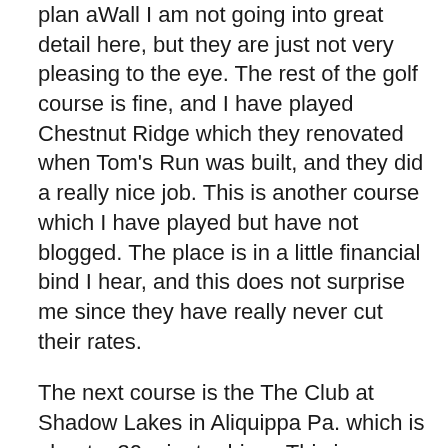plan aWall I am not going into great detail here, but they are just not very pleasing to the eye. The rest of the golf course is fine, and I have played Chestnut Ridge which they renovated when Tom’s Run was built, and they did a really nice job. This is another course which I have played but have not blogged. The place is in a little financial bind I hear, and this does not surprise me since they have really never cut their rates.
The next course is the The Club at Shadow Lakes in Aliquippa Pa. which is about a 30 minute drive.  This is a course that use to be private, but again because of financial difficulties went public. Unfortunately they never lost their country club attitude. Their rates have always been above average. I did go play it about 2 weeks ago and I must admit, I was pleasantly surprised. The course has lots of water and many tree lined holes. The course